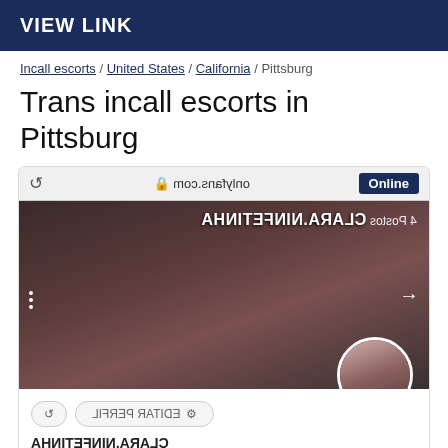VIEW LINK
Incall escorts / United States / California / Pittsburg
Trans incall escorts in Pittsburg
[Figure (screenshot): Screenshot of an OnlyFans profile page for CLARA.NINFETINHA shown in mirror/reversed text, with a photo of a woman in a red outfit, showing 'Online' badge, 'EDITAR PERFIL' button reversed, profile avatar with green online dot, and mirrored text at bottom.]